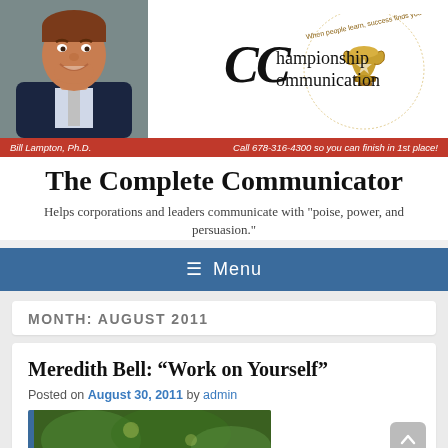[Figure (photo): Headshot of Bill Lampton Ph.D., a smiling middle-aged man in a suit, against a gray background]
[Figure (logo): Championship Communication logo with trophy icon and circular text reading 'When people learn, success finds you']
Bill Lampton, Ph.D.    Call 678-316-4300 so you can finish in 1st place!
The Complete Communicator
Helps corporations and leaders communicate with "poise, power, and persuasion."
☰  Menu
MONTH: AUGUST 2011
Meredith Bell: “Work on Yourself”
Posted on August 30, 2011 by admin
[Figure (photo): Partial thumbnail image of outdoor green foliage scene]